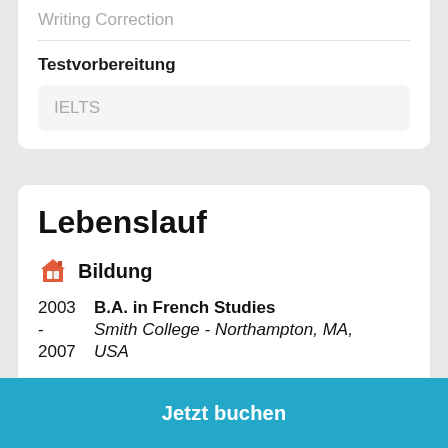Writing Correction
Testvorbereitung
IELTS
Lebenslauf
Bildung
2003 - 2007  B.A. in French Studies  Smith College - Northampton, MA, USA
Arbeitserfahrung
Online! - Vermont, USA